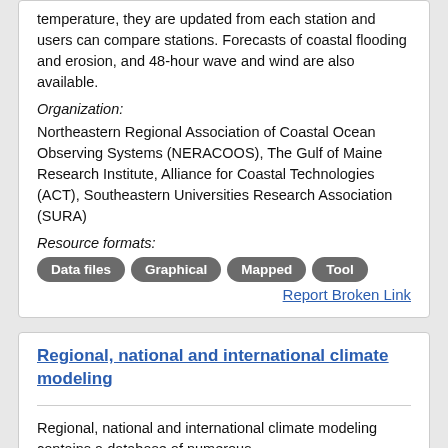temperature, they are updated from each station and users can compare stations. Forecasts of coastal flooding and erosion, and 48-hour wave and wind are also available.
Organization:
Northeastern Regional Association of Coastal Ocean Observing Systems (NERACOOS), The Gulf of Maine Research Institute, Alliance for Coastal Technologies (ACT), Southeastern Universities Research Association (SURA)
Resource formats:
Data files   Graphical   Mapped   Tool
Report Broken Link
Regional, national and international climate modeling
Regional, national and international climate modeling contains a database of numerous